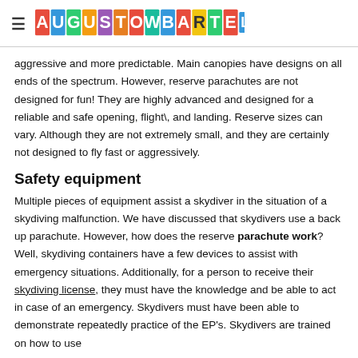≡  AUGUSTOWBARTELLE
aggressive and more predictable. Main canopies have designs on all ends of the spectrum. However, reserve parachutes are not designed for fun! They are highly advanced and designed for a reliable and safe opening, flight\, and landing. Reserve sizes can vary. Although they are not extremely small, and they are certainly not designed to fly fast or aggressively.
Safety equipment
Multiple pieces of equipment assist a skydiver in the situation of a skydiving malfunction. We have discussed that skydivers use a back up parachute. However, how does the reserve parachute work? Well, skydiving containers have a few devices to assist with emergency situations. Additionally, for a person to receive their skydiving license, they must have the knowledge and be able to act in case of an emergency. Skydivers must have been able to demonstrate repeatedly practice of the EP's. Skydivers are trained on how to use